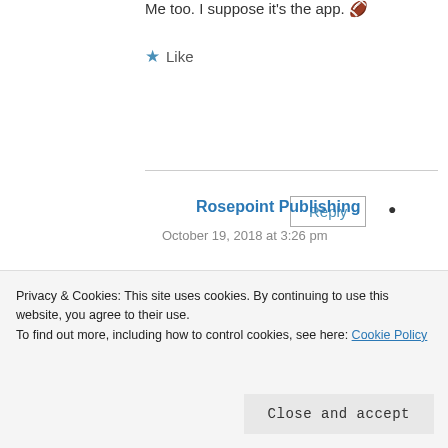Me too. I suppose it's the app. 🏈
★ Like
Reply
Rosepoint Publishing
October 19, 2018 at 3:26 pm
they've been messing with it again (subtle changes) and also with…
Privacy & Cookies: This site uses cookies. By continuing to use this website, you agree to their use.
To find out more, including how to control cookies, see here: Cookie Policy
Close and accept